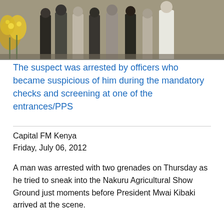[Figure (photo): Group of people standing outdoors near yellow flowers, likely at an agricultural show ground event.]
The suspect was arrested by officers who became suspicious of him during the mandatory checks and screening at one of the entrances/PPS
Capital FM Kenya
Friday, July 06, 2012
A man was arrested with two grenades on Thursday as he tried to sneak into the Nakuru Agricultural Show Ground just moments before President Mwai Kibaki arrived at the scene.
The suspect was arrested by officers who became suspicious of him during the mandatory checks and screening at one of the entrances.